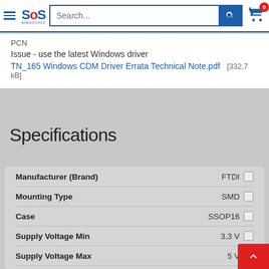[Figure (screenshot): SOS Electronic website navigation bar with hamburger menu, logo, search box, and shopping cart with 0 items badge]
PCN
Issue - use the latest Windows driver
TN_165 Windows CDM Driver Errata Technical Note.pdf  [332,7 kB]
Specifications
| Specification | Value |
| --- | --- |
| Manufacturer (Brand) | FTDI |
| Mounting Type | SMD |
| Case | SSOP16 |
| Supply Voltage Min | 3,3 V |
| Supply Voltage Max | 5 V |
| Note | - |
| Series | FT230 |